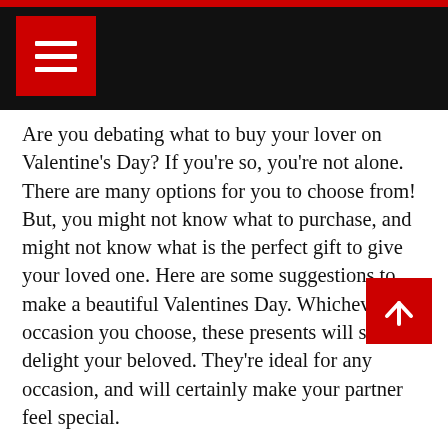Navigation header with hamburger menu and search icon
Are you debating what to buy your lover on Valentine's Day? If you're so, you're not alone. There are many options for you to choose from! But, you might not know what to purchase, and might not know what is the perfect gift to give your loved one. Here are some suggestions to make a beautiful Valentines Day. Whichever occasion you choose, these presents will surely delight your beloved. They're ideal for any occasion, and will certainly make your partner feel special.
Personalized Low Ball Glasses: If wish to wow your man with something distinctive and unique do it with glasses that are personalized with your name. ball glasses They're etched glasses that can feel luxurious in your fingers. They are a great pair for golf. will complement the accessories of your favorite golfer. They will